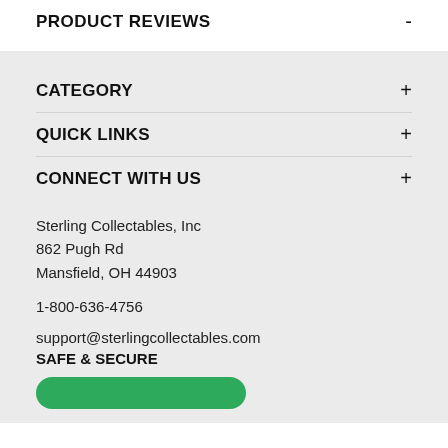PRODUCT REVIEWS -
CATEGORY +
QUICK LINKS +
CONNECT WITH US +
Sterling Collectables, Inc
862 Pugh Rd
Mansfield, OH 44903
1-800-636-4756
support@sterlingcollectables.com
SAFE & SECURE
[Figure (other): Green rounded button at bottom]